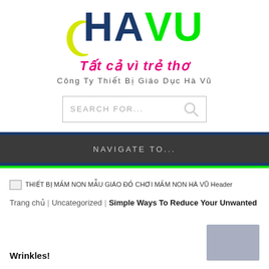[Figure (logo): HAVU logo with dark blue H and A letters, yellow crescent arc, bright green VU letters, pink italic tagline 'Tất cả vì trẻ thơ', subtitle 'Công Ty Thiết Bị Giáo Dục Hà Vũ']
[Figure (screenshot): Search box with placeholder text 'SEARCH FOR...' and a search icon]
NAVIGATE TO...
[Figure (photo): THIẾT BỊ MẦM NON MẪU GIÁO ĐỒ CHƠI MẦM NON HÀ VŨ Header - broken image placeholder]
Trang chủ | Uncategorized | Simple Ways To Reduce Your Unwanted
Wrinkles!